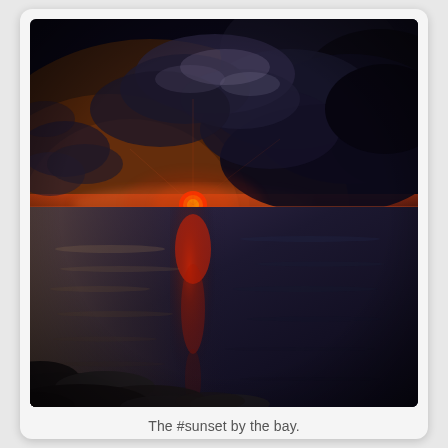[Figure (photo): Dramatic sunset over a bay. Dark stormy clouds fill the upper right sky, with warm orange and red hues breaking through on the left near the horizon. A bright red sun sits just above the horizon line, casting a vivid red reflection on the calm water below. Rocky shoreline visible in the bottom left corner. The image has a high-contrast, HDR-style look with deep blue-purple tones dominating.]
The #sunset by the bay.